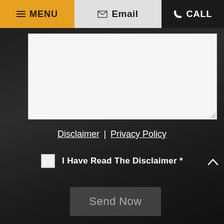MENU | Email | CALL
[Figure (screenshot): White textarea input field with resize handle]
Disclaimer | Privacy Policy
I Have Read The Disclaimer *
Send Now